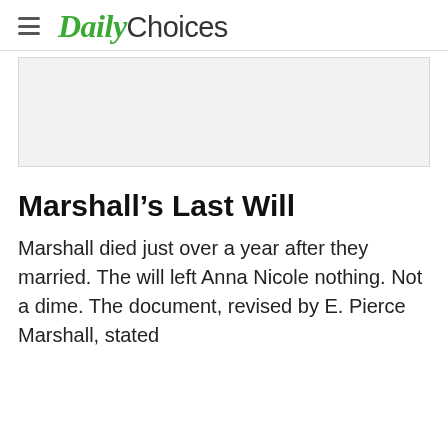Daily Choices
[Figure (other): Gray advertisement placeholder box]
Marshall's Last Will
Marshall died just over a year after they married. The will left Anna Nicole nothing. Not a dime. The document, revised by E. Pierce Marshall, stated